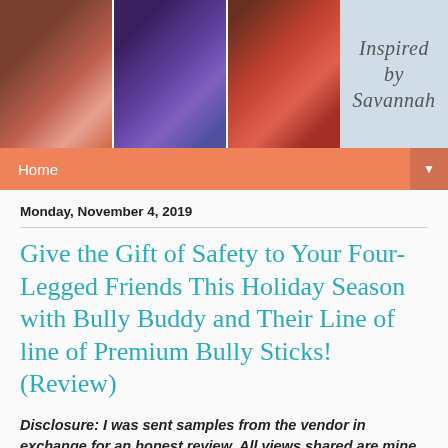[Figure (photo): Blog header banner with three photos of a young girl (holding a doll, dressed in fairy costume, eating) and cursive script text 'Inspired by Savannah' on light blue background]
Home
Monday, November 4, 2019
Give the Gift of Safety to Your Four-Legged Friends This Holiday Season with Bully Buddy and Their Line of line of Premium Bully Sticks! (Review)
Disclosure:  I was sent samples from the vendor in exchange for an honest review. All views shared are mine and mine alone.